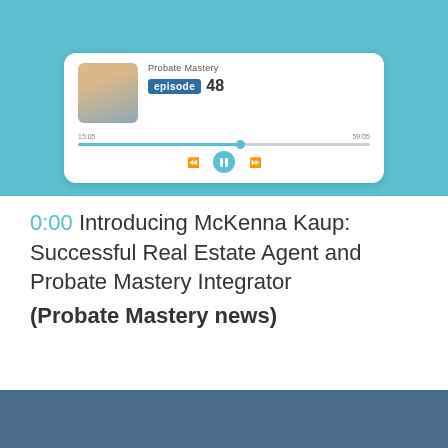[Figure (screenshot): Podcast player interface for 'Probate Mastery' episode 48, showing a woman's photo, progress bar, and playback controls on a teal/light-blue background.]
0:00 Introducing McKenna Kaup: Successful Real Estate Agent and Probate Mastery Integrator (Probate Mastery news)